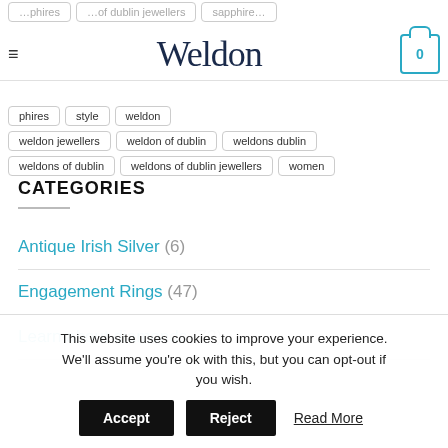phires
style
weldon
Weldon
weldon jewellers
weldon of dublin
weldons dublin
weldons of dublin
weldons of dublin jewellers
women
CATEGORIES
Antique Irish Silver (6)
Engagement Rings (47)
Learn about diamonds (72)
This website uses cookies to improve your experience. We'll assume you're ok with this, but you can opt-out if you wish. Accept Reject Read More